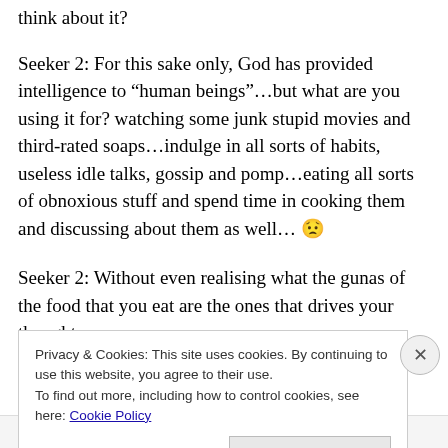think about it?
Seeker 2: For this sake only, God has provided intelligence to “human beings”…but what are you using it for? watching some junk stupid movies and third-rated soaps…indulge in all sorts of habits, useless idle talks, gossip and pomp…eating all sorts of obnoxious stuff and spend time in cooking them and discussing about them as well… 😟
Seeker 2: Without even realising what the gunas of the food that you eat are the ones that drives your thought
Privacy & Cookies: This site uses cookies. By continuing to use this website, you agree to their use.
To find out more, including how to control cookies, see here: Cookie Policy
Close and accept